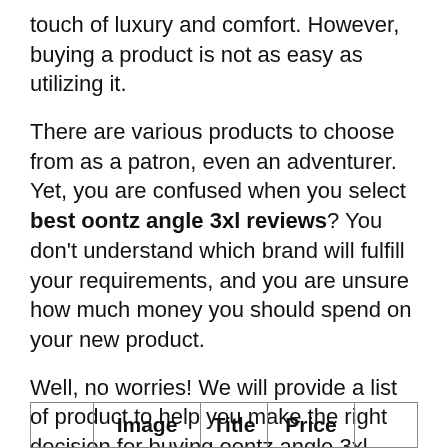touch of luxury and comfort. However, buying a product is not as easy as utilizing it.
There are various products to choose from as a patron, even an adventurer. Yet, you are confused when you select best oontz angle 3xl reviews? You don't understand which brand will fulfill your requirements, and you are unsure how much money you should spend on your new product.
Well, no worries! We will provide a list of product to help you make the right decision for buying oontz angle 3xl reviews. We have analyzed few matrices to get the list from thousands of similar product.
|  | Image | Title | Price |  |
| --- | --- | --- | --- | --- |